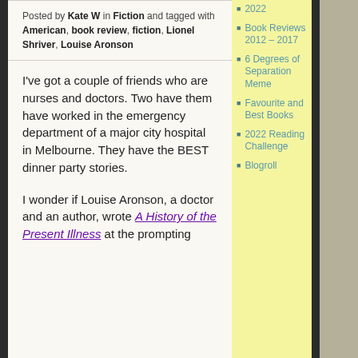Posted by Kate W in Fiction and tagged with American, book review, fiction, Lionel Shriver, Louise Aronson
I've got a couple of friends who are nurses and doctors. Two have them have worked in the emergency department of a major city hospital in Melbourne. They have the BEST dinner party stories.

I wonder if Louise Aronson, a doctor and an author, wrote A History of the Present Illness at the prompting
2022
Book Reviews 2012 – 2017
6 Degrees of Separation Meme
Favourite and Best Books
2022 Reading Challenge
Blogroll